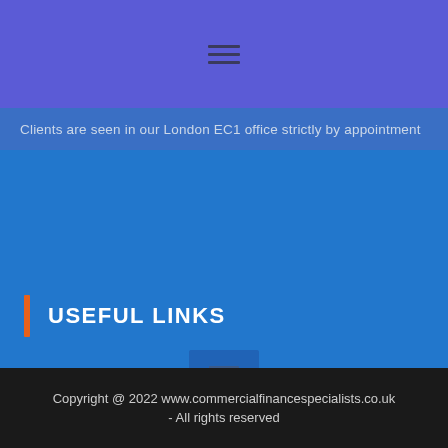[Figure (other): Hamburger menu icon (three horizontal lines) on purple/indigo header bar]
Clients are seen in our London EC1 office strictly by appointment
USEFUL LINKS
[Figure (other): Hamburger menu icon (three horizontal lines) in darker blue box on blue background]
Copyright @ 2022 www.commercialfinancespecialists.co.uk - All rights reserved